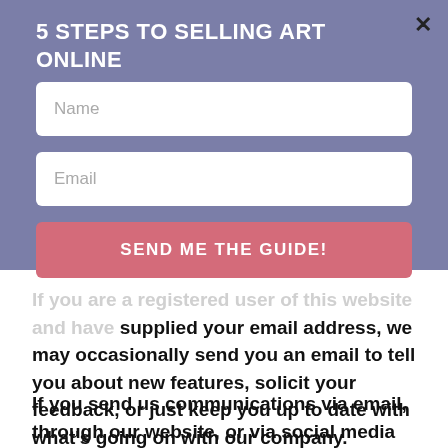5 STEPS TO SELLING ART ONLINE
[Figure (other): Form input field with placeholder text 'Name']
[Figure (other): Form input field with placeholder text 'Email']
[Figure (other): Button labeled 'SEND ME THE GUIDE!']
If you are a registered user of this website and have supplied your email address, we may occasionally send you an email to tell you about new features, solicit your feedback, or just keep you up to date with what's going on with our company.
If you send us communications via email, through our website, or via social media platforms, we reserve the